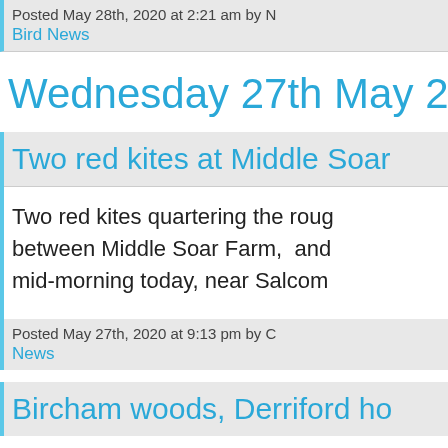Posted May 28th, 2020 at 2:21 am by N
Bird News
Wednesday 27th May 20
Two red kites at Middle Soar
Two red kites quartering the rough ground between Middle Soar Farm, and mid-morning today, near Salcom
Posted May 27th, 2020 at 9:13 pm by C
News
Bircham woods, Derriford ho